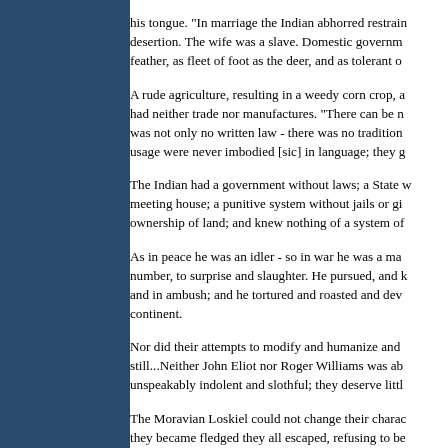his tongue. "In marriage the Indian abhorred restraint... desertion. The wife was a slave. Domestic government... feather, as fleet of foot as the deer, and as tolerant o...
A rude agriculture, resulting in a weedy corn crop, a... had neither trade nor manufactures. "There can be n... was not only no written law - there was no tradition... usage were never imbodied [sic] in language; they g...
The Indian had a government without laws; a State ... meeting house; a punitive system without jails or gi... ownership of land; and knew nothing of a system of...
As in peace he was an idler - so in war he was a ma... number, to surprise and slaughter. He pursued, and k... and in ambush; and he tortured and roasted and dev... continent.
Nor did their attempts to modify and humanize and... still...Neither John Eliot nor Roger Williams was ab... unspeakably indolent and slothful; they deserve littl...
The Moravian Loskiel could not change their charac... they became fledged they all escaped, refusing to be... college parchment could not close the gulf between...
The copper colored men are characterized by a mor... brooks, as they chime forth their unwearied canticle... a propensity to the habits of its ancestors...
The trouble lay deeper. Year after year the Indian di...